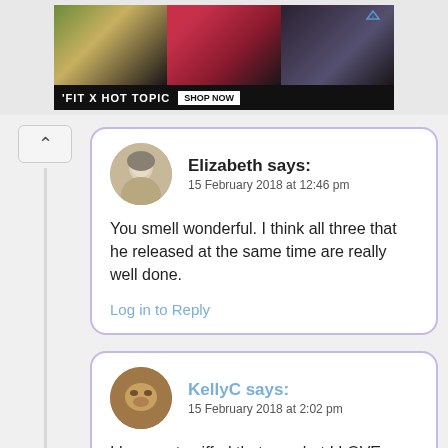[Figure (photo): Advertisement banner for 'FIT X HOT TOPIC' featuring three young celebrities, with a SHOP NOW button and ad disclosure icon in top right corner.]
Elizabeth says:
15 February 2018 at 12:46 pm
You smell wonderful. I think all three that he released at the same time are really well done.
Log in to Reply
KellyC says:
15 February 2018 at 2:02 pm
I have not sniffed that one, but I LOVE